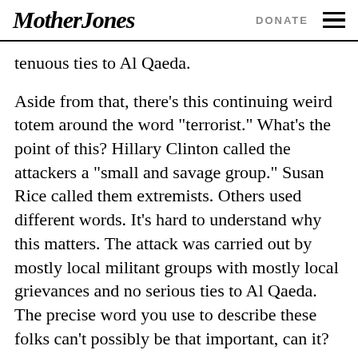Mother Jones | DONATE
tenuous ties to Al Qaeda.
Aside from that, there’s this continuing weird totem around the word “terrorist.” What’s the point of this? Hillary Clinton called the attackers a “small and savage group.” Susan Rice called them extremists. Others used different words. It’s hard to understand why this matters. The attack was carried out by mostly local militant groups with mostly local grievances and no serious ties to Al Qaeda. The precise word you use to describe these folks can’t possibly be that important, can it?
And an aside....